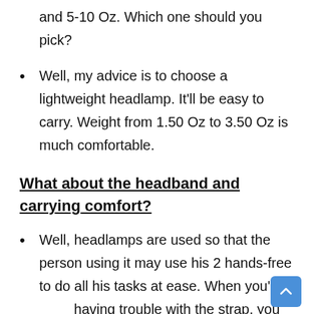and 5-10 Oz. Which one should you pick?
Well, my advice is to choose a lightweight headlamp. It'll be easy to carry. Weight from 1.50 Oz to 3.50 Oz is much comfortable.
What about the headband and carrying comfort?
Well, headlamps are used so that the person using it may use his 2 hands-free to do all his tasks at ease. When you're having trouble with the strap, you won't